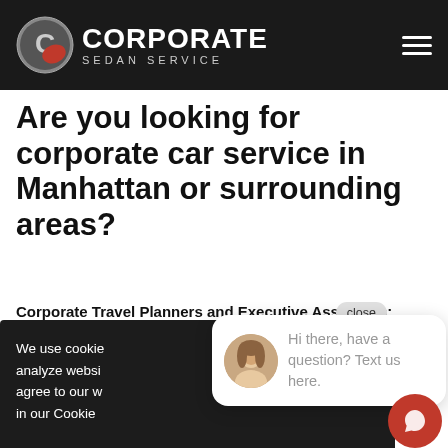[Figure (logo): Corporate Sedan Service logo with circular C emblem on dark header bar with hamburger menu icon]
Are you looking for corporate car service in Manhattan or surrounding areas?
Corporate Travel Planners and Executive Assistants:
[Figure (screenshot): Cookie consent banner overlay on dark background with 'close' button, cookie usage text, 'Got it!' and 'Allow' buttons]
[Figure (screenshot): Chat popup with female avatar photo and text: Hi there, have a question? Text us here.]
manage your corporate and executive transportation